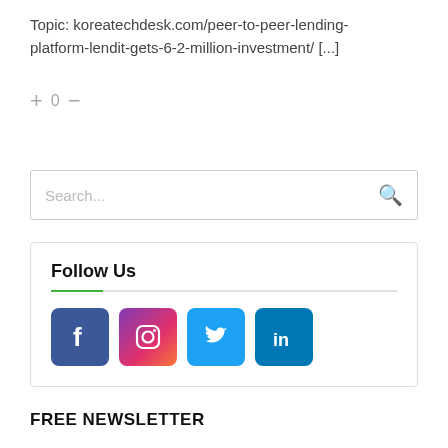Topic: koreatechdesk.com/peer-to-peer-lending-platform-lendit-gets-6-2-million-investment/ [...]
+ 0 −
[Figure (screenshot): Search input box with magnifying glass icon]
Follow Us
[Figure (infographic): Social media icons: Facebook, Instagram, Twitter, LinkedIn]
FREE NEWSLETTER